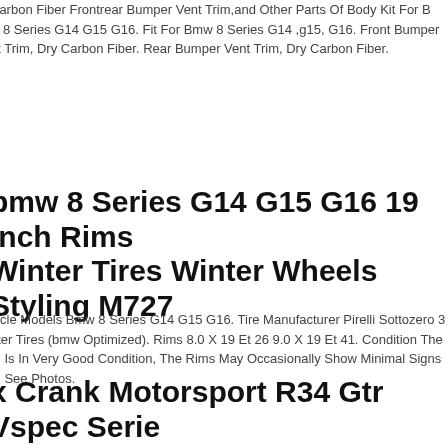Carbon Fiber Frontrear Bumper Vent Trim,and Other Parts Of Body Kit For Bmw 8 Series G14 G15 G16. Fit For Bmw 8 Series G14 ,g15, G16. Front Bumper Vent Trim, Dry Carbon Fiber. Rear Bumper Vent Trim, Dry Carbon Fiber.
bmw 8 Series G14 G15 G16 19 Inch Rims Winter Tires Winter Wheels Styling M727
Vehicle Models Bmw 8 Series G14 G15 G16. Tire Manufacturer Pirelli Sottozero 3 Winter Tires (bmw Optimized). Rims 8.0 X 19 Et 26 9.0 X 19 Et 41. Condition The Item Is In Very Good Condition, The Rims May Occasionally Show Minimal Signs, See Photos.
x Crank Motorsport R34 Gtr Vspec Series Grey Style Seats Adr Approved
Quality R34 Gtr Vspec Style Seats Series 1 Factory Grey. R34 Gtt Rail. Adr